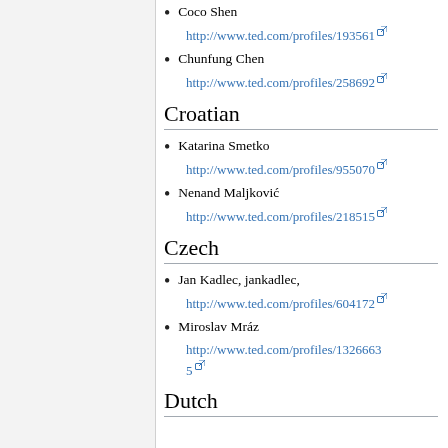Coco Shen
http://www.ted.com/profiles/193561
Chunfung Chen
http://www.ted.com/profiles/258692
Croatian
Katarina Smetko
http://www.ted.com/profiles/955070
Nenand Maljković
http://www.ted.com/profiles/218515
Czech
Jan Kadlec, jankadlec,
http://www.ted.com/profiles/604172
Miroslav Mráz
http://www.ted.com/profiles/1326635
Dutch